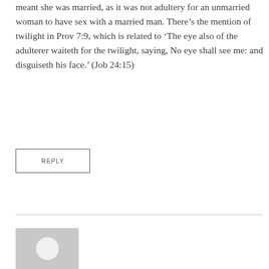meant she was married, as it was not adultery for an unmarried woman to have sex with a married man. There’s the mention of twilight in Prov 7:9, which is related to ‘The eye also of the adulterer waiteth for the twilight, saying, No eye shall see me: and disguiseth his face.’ (Job 24:15)
REPLY
[Figure (illustration): Gray square avatar placeholder with white circle in the center, representing a user profile image.]